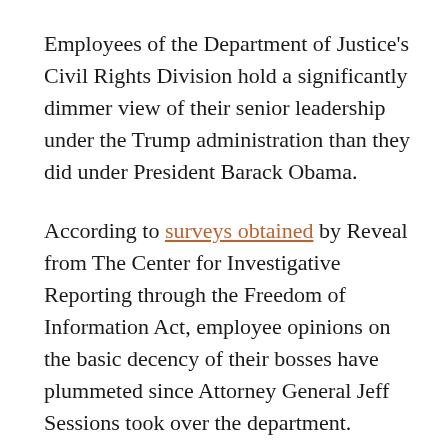Employees of the Department of Justice's Civil Rights Division hold a significantly dimmer view of their senior leadership under the Trump administration than they did under President Barack Obama.
According to surveys obtained by Reveal from The Center for Investigative Reporting through the Freedom of Information Act, employee opinions on the basic decency of their bosses have plummeted since Attorney General Jeff Sessions took over the department.
Federal Employee Viewpoint Surveys are filled out by hundreds of thousands of federal workers every